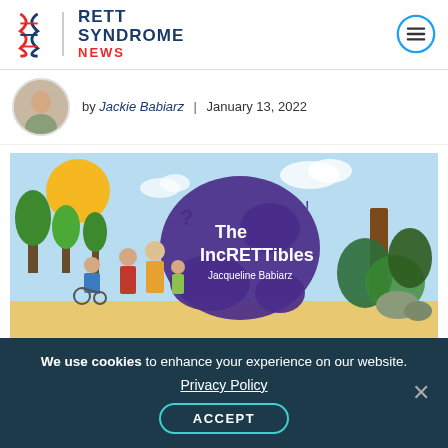Rett Syndrome News
by Jackie Babiarz | January 13, 2022
[Figure (illustration): The IncRETTibles book cover illustration by Jacqueline Babiarz showing a family group including a child in a wheelchair, trees, sunshine, and a purple blob shape with text 'The IncRETTibles Jacqueline Babiarz']
Share:
We use cookies to enhance your experience on our website.
Privacy Policy
ACCEPT